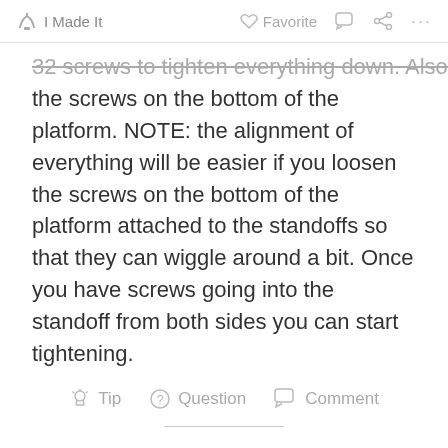I Made It   Favorite   Comment   Share   ...
32 screws to tighten everything down. Also tighten the screws on the bottom of the platform. NOTE: the alignment of everything will be easier if you loosen the screws on the bottom of the platform attached to the standoffs so that they can wiggle around a bit. Once you have screws going into the standoff from both sides you can start tightening.
Step 4: Gate Platform Assembly